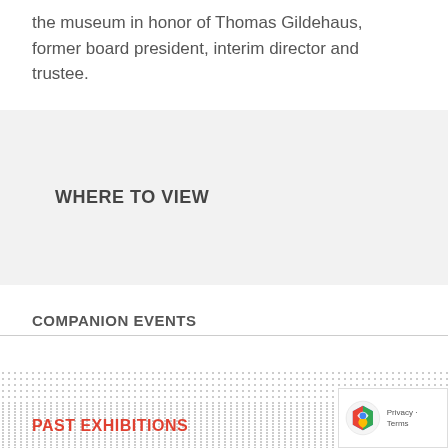the museum in honor of Thomas Gildehaus, former board president, interim director and trustee.
WHERE TO VIEW
COMPANION EVENTS
PAST EXHIBITIONS
[Figure (logo): reCAPTCHA badge with Google logo and Privacy · Terms text]